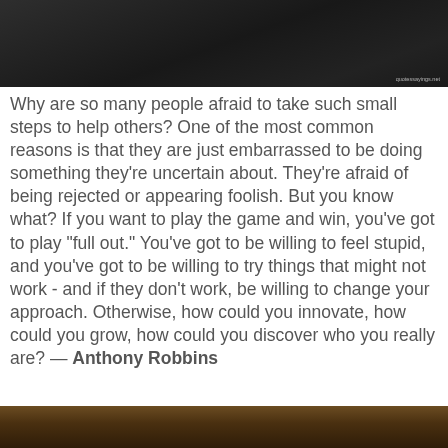[Figure (photo): Dark atmospheric image, possibly of a person or scene, with watermark 'quotessayings.net' in bottom right corner]
Why are so many people afraid to take such small steps to help others? One of the most common reasons is that they are just embarrassed to be doing something they're uncertain about. They're afraid of being rejected or appearing foolish. But you know what? If you want to play the game and win, you've got to play "full out." You've got to be willing to feel stupid, and you've got to be willing to try things that might not work - and if they don't work, be willing to change your approach. Otherwise, how could you innovate, how could you grow, how could you discover who you really are? — Anthony Robbins
[Figure (photo): Dark warm-toned image at the bottom of the page, partially visible]